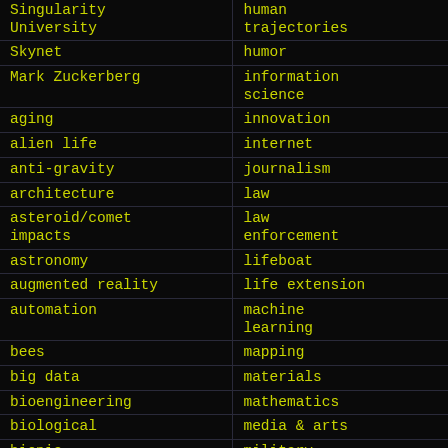| Topic (left) | Topic (right) |
| --- | --- |
| Singularity University | human trajectories |
| Skynet | humor |
| Mark Zuckerberg | information science |
| aging | innovation |
| alien life | internet |
| anti-gravity | journalism |
| architecture | law |
| asteroid/comet impacts | law enforcement |
| astronomy | lifeboat |
| augmented reality | life extension |
| automation | machine learning |
| bees | mapping |
| big data | materials |
| bioengineering | mathematics |
| biological | media & arts |
| bionic | military |
| bioprinting |  |